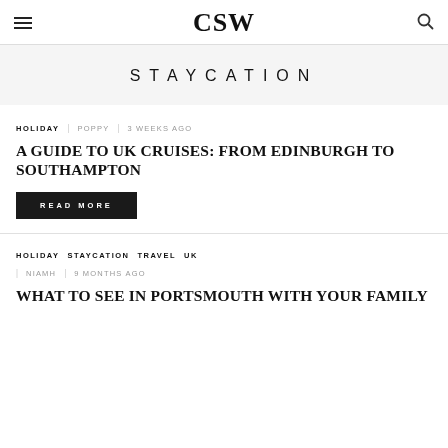CSW
STAYCATION
HOLIDAY | POPPY | 3 WEEKS AGO
A GUIDE TO UK CRUISES: FROM EDINBURGH TO SOUTHAMPTON
READ MORE
HOLIDAY STAYCATION TRAVEL UK | NIAMH | 9 MONTHS AGO
WHAT TO SEE IN PORTSMOUTH WITH YOUR FAMILY